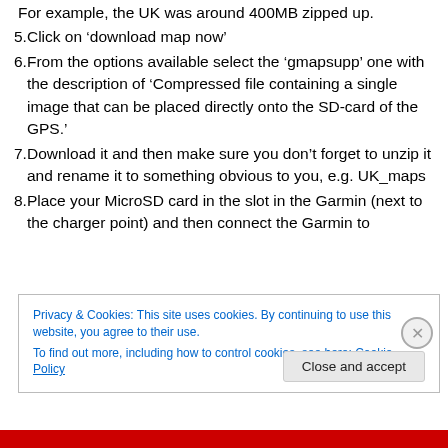For example, the UK was around 400MB zipped up.
5. Click on ‘download map now’
6. From the options available select the ‘gmapsupp’ one with the description of ‘Compressed file containing a single image that can be placed directly onto the SD-card of the GPS.’
7. Download it and then make sure you don’t forget to unzip it and rename it to something obvious to you, e.g. UK_maps
8. Place your MicroSD card in the slot in the Garmin (next to the charger point) and then connect the Garmin to
Privacy & Cookies: This site uses cookies. By continuing to use this website, you agree to their use.
To find out more, including how to control cookies, see here: Cookie Policy